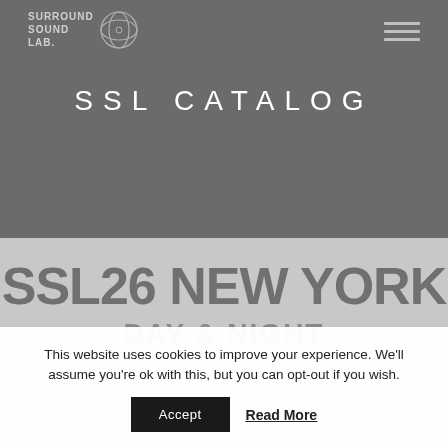[Figure (logo): Surround Sound Lab logo with circular emblem and hamburger menu icon]
SSL CATALOG
SSL26 NEW YORK
DAY & NIGHT
This website uses cookies to improve your experience. We'll assume you're ok with this, but you can opt-out if you wish.
Accept  Read More